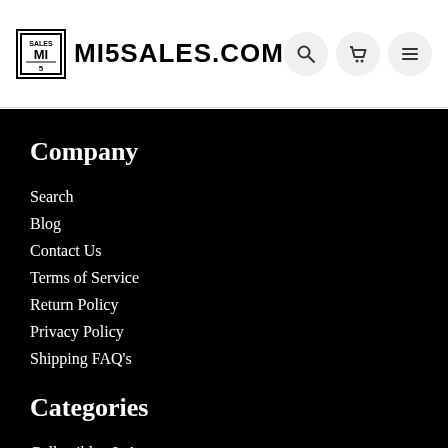MI5SALES.COM
Company
Search
Blog
Contact Us
Terms of Service
Return Policy
Privacy Policy
Shipping FAQ's
Categories
Collectibles & Art
Electronics